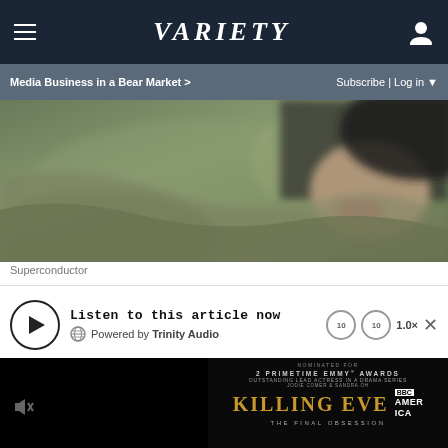VARIETY | Media Business in a Bear Market > | Subscribe | Log in
[Figure (photo): Close-up blurred photo of a woman's face and dark hair, outdoor setting with rocky or textured background]
Superconductor
Listen to this article now
Powered by Trinity Audio
[Figure (screenshot): Killing Eve BBC America advertisement. Nominated for 2 Primetime Emmy Awards - Outstanding Lead Actress in a Drama Series. Jodie Comer & Sandra Oh. KILLING EVE BBC AMERICA THE FINAL OBSESSION]